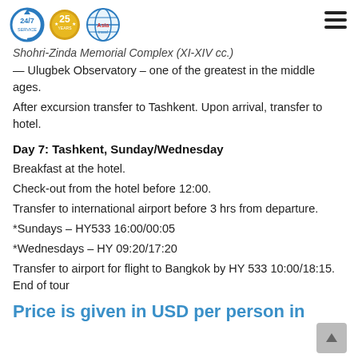Asia Travel — 24/7 Service, 25 Years
Shohri-Zinda Memorial Complex (XI-XIV cc.)
— Ulugbek Observatory – one of the greatest in the middle ages.
After excursion transfer to Tashkent. Upon arrival, transfer to hotel.
Day 7: Tashkent, Sunday/Wednesday
Breakfast at the hotel.
Check-out from the hotel before 12:00.
Transfer to international airport before 3 hrs from departure.
*Sundays – HY533 16:00/00:05
*Wednesdays – HY 09:20/17:20
Transfer to airport for flight to Bangkok by HY 533 10:00/18:15. End of tour
Price is given in USD per person in